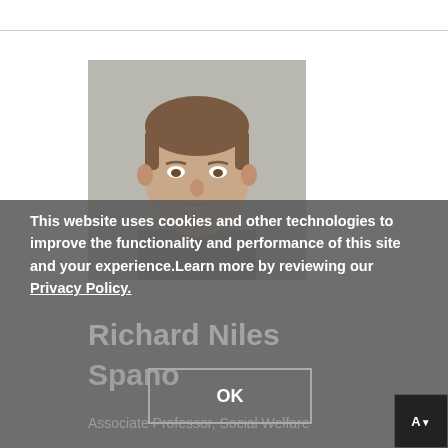[Figure (photo): Headshot photo of a middle-aged man with short brown hair against a grey background. The lower half of the photo is obscured by a dark cookie consent overlay.]
This website uses cookies and other technologies to improve the functionality and performance of this site and your experience.Learn more by reviewing our Privacy Policy.
OK
Richard Niles Spano
Associate Professor, Social Welfare